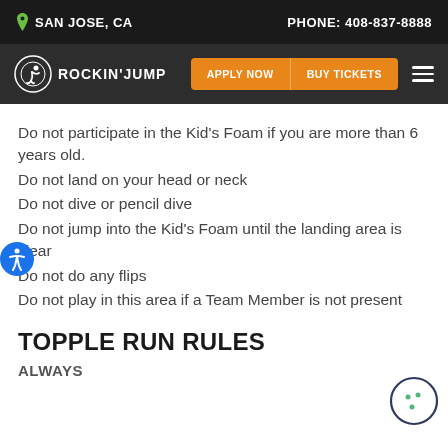SAN JOSE, CA   PHONE: 408-837-8888
[Figure (logo): Rockin' Jump logo with navigation bar including Apply Now and Buy Tickets buttons]
Do not participate in the Kid’s Foam if you are more than 6 years old.
Do not land on your head or neck
Do not dive or pencil dive
Do not jump into the Kid’s Foam until the landing area is clear
Do not do any flips
Do not play in this area if a Team Member is not present
TOPPLE RUN RULES
ALWAYS